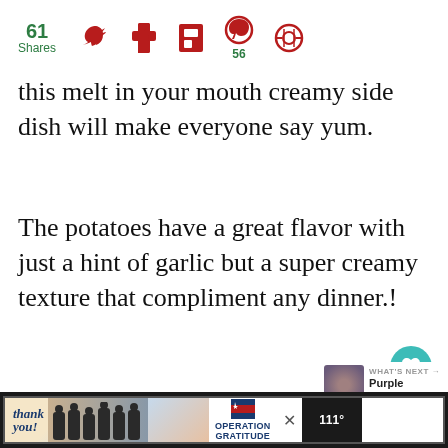61 Shares [social icons: Twitter, Facebook, Flipboard, Pinterest 56, other]
this melt in your mouth creamy side dish will make everyone say yum.
The potatoes have a great flavor with just a hint of garlic but a super creamy texture that compliment any dinner.!
Give them a try and let us know how you like them.
[Figure (screenshot): Advertisement bar at bottom showing 'Thank you' with Operation Gratitude ad, close button, and weather widget]
[Figure (infographic): What's Next panel showing Purple Passion... with thumbnail]